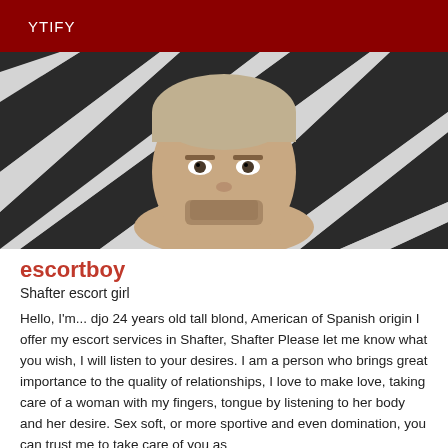YTIFY
[Figure (photo): A young man with short light hair and a beard lying on a zebra-print background]
escortboy
Shafter escort girl
Hello, I'm... djo 24 years old tall blond, American of Spanish origin I offer my escort services in Shafter, Shafter Please let me know what you wish, I will listen to your desires. I am a person who brings great importance to the quality of relationships, I love to make love, taking care of a woman with my fingers, tongue by listening to her body and her desire. Sex soft, or more sportive and even domination, you can trust me to take care of you as